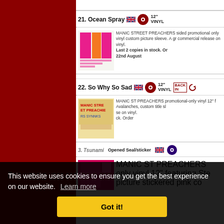21. Ocean Spray — 12" Vinyl (UK)
[Figure (photo): Album cover artwork for Ocean Spray — pink and orange color block sleeve]
MANIC STREET PREACHERS sided promotional only vinyl custom picture sleeve. A gr commercial release on vinyl. Last 2 copies in stock. Order by 22nd August
22. So Why So Sad — 12" Vinyl (UK) — BACK IN
[Figure (photo): Album cover artwork for So Why So Sad — Manic Street Preachers text-based sleeve]
MANIC ST PREACHERS promotional-only vinyl 12" f Avalanches, custom title sle se on vinyl. ck. Order
23. Tsunami — Opened Seal/sticker — 12" Vinyl (UK)
[Figure (photo): Album cover for Tsunami — pink sleeve]
MANIC ST PREACHERS only vinyl 12" featuring Ste picture stickered pink co
This website uses cookies to ensure you get the best experience on our website. Learn more
Got it!